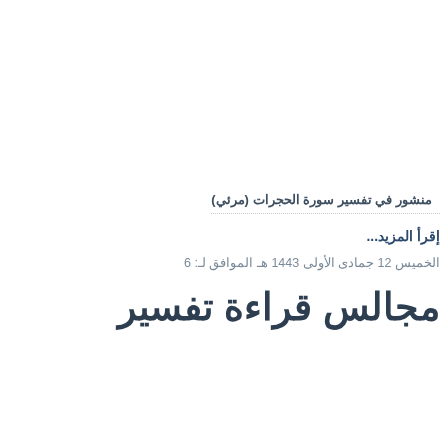منشور في تفسير سورة الحجرات (مرئي)
إقرأ المزيد...
الخميس 12 جمادى الأولى 1443 هـ الموافق لـ: 6
مجالس قراءة تفسير